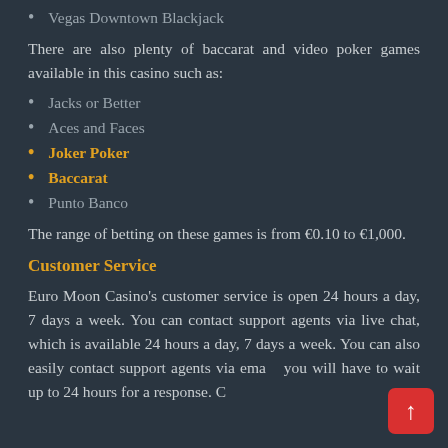Vegas Downtown Blackjack
There are also plenty of baccarat and video poker games available in this casino such as:
Jacks or Better
Aces and Faces
Joker Poker
Baccarat
Punto Banco
The range of betting on these games is from €0.10 to €1,000.
Customer Service
Euro Moon Casino's customer service is open 24 hours a day, 7 days a week. You can contact support agents via live chat, which is available 24 hours a day, 7 days a week. You can also easily contact support agents via email, you will have to wait up to 24 hours for a response. Casino